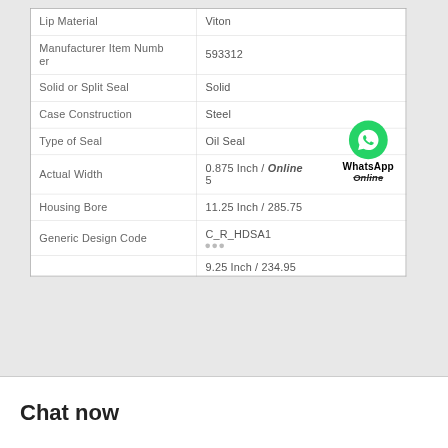| Property | Value |
| --- | --- |
| Lip Material | Viton |
| Manufacturer Item Number | 593312 |
| Solid or Split Seal | Solid |
| Case Construction | Steel |
| Type of Seal | Oil Seal |
| Actual Width | 0.875 Inch / Online 5 |
| Housing Bore | 11.25 Inch / 285.75 |
| Generic Design Code | C_R_HDSA1 |
|  | 9.25 Inch / 234.95 |